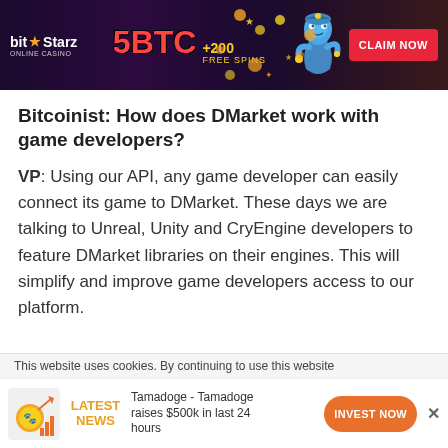[Figure (screenshot): BitStarz Online Casino advertisement banner showing '5BTC +200 FREE SPINS' offer with a blue genie character and 'CLAIM NOW' red button on dark purple/black background]
Bitcoinist: How does DMarket work with game developers?
VP: Using our API, any game developer can easily connect its game to DMarket. These days we are talking to Unreal, Unity and CryEngine developers to feature DMarket libraries on their engines. This will simplify and improve game developers access to our platform.
This website uses cookies. By continuing to use this website
[Figure (infographic): Tamadoge news bar showing coin icon with upward trend chart, 'LATEST NEWS' in orange text, 'Tamadoge - Tamadoge raises $500k in last 24 hours' text, and orange 'INVEST NOW' button]